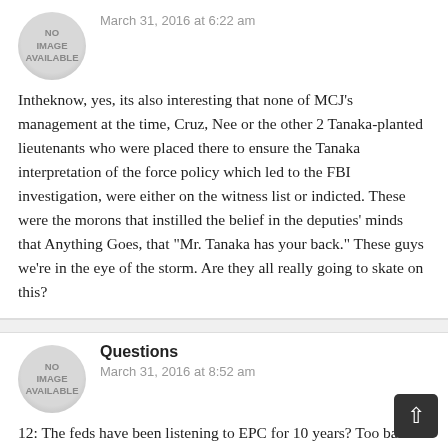[Figure (illustration): Circular avatar placeholder with text 'NO IMAGE AVAILABLE' in gray]
March 31, 2016 at 6:22 am
Intheknow, yes, its also interesting that none of MCJ’s management at the time, Cruz, Nee or the other 2 Tanaka-planted lieutenants who were placed there to ensure the Tanaka interpretation of the force policy which led to the FBI investigation, were either on the witness list or indicted. These were the morons that instilled the belief in the deputies’ minds that Anything Goes, that “Mr. Tanaka has your back.” These guys we’re in the eye of the storm. Are they all really going to skate on this?
[Figure (illustration): Circular avatar placeholder with text 'NO IMAGE AVAILABLE' in gray]
Questions
March 31, 2016 at 8:52 am
12: The feds have been listening to EPC for 10 years? Too bad that fixing tests and IAB’s is not a federal crime? Too bad the feds didn’t listen in on Waldie and Stonich ruin a once great